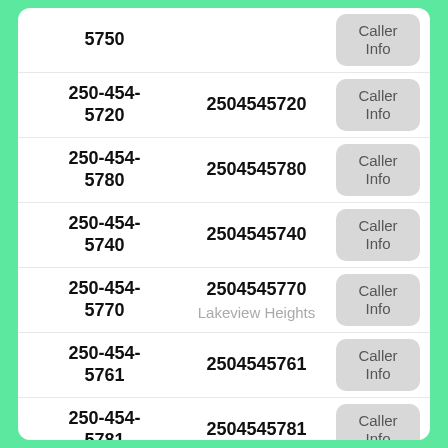| Phone | Number | Action |
| --- | --- | --- |
| 250-454-5750 | 2504545750 | Caller Info |
| 250-454-5720 | 2504545720 | Caller Info |
| 250-454-5780 | 2504545780 | Caller Info |
| 250-454-5740 | 2504545740 | Caller Info |
| 250-454-5770 | 2504545770
Lakeview Heights | Caller Info |
| 250-454-5761 | 2504545761 | Caller Info |
| 250-454-5781 | 2504545781 | Caller Info |
| 250-454-5751 | 2504545751 | Caller Info |
| 250-454-5711 | 2504545711 | Caller Info |